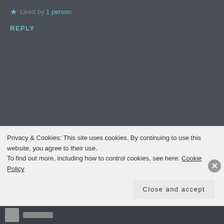★ Liked by 1 person
REPLY
MEG CONLON
DECEMBER 11, 2016 AT 9:23 AM
Unfortunately Ms. Schwartz is drinking the Pre-Israel desperate Jewish suck up Kool Aid which will poison her and those that
Privacy & Cookies: This site uses cookies. By continuing to use this website, you agree to their use.
To find out more, including how to control cookies, see here: Cookie Policy
Close and accept